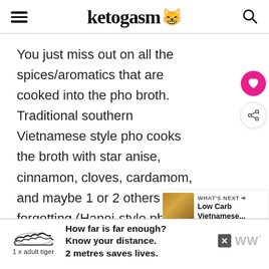ketogasm 😸
You just miss out on all the spices/aromatics that are cooked into the pho broth. Traditional southern Vietnamese style pho cooks the broth with star anise, cinnamon, cloves, cardamom, and maybe 1 or 2 others forgetting (Hanoi-style pho
[Figure (screenshot): Pink heart favorite button and share button on right side of page]
[Figure (screenshot): What's Next widget showing Low Carb Vietnamese... with food image thumbnail]
[Figure (screenshot): Advertisement banner: tiger illustration with '1 x adult tiger', text 'How far is far enough? Know your distance. 2 metres saves lives.' with close X button and WW logo]